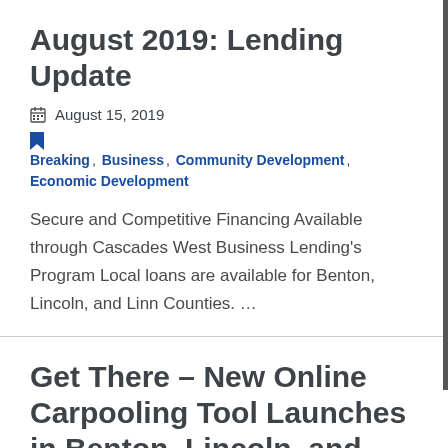August 2019: Lending Update
August 15, 2019
Breaking, Business, Community Development, Economic Development
Secure and Competitive Financing Available through Cascades West Business Lending’s Program Local loans are available for Benton, Lincoln, and Linn Counties. …
Get There – New Online Carpooling Tool Launches in Benton, Lincoln, and Linn